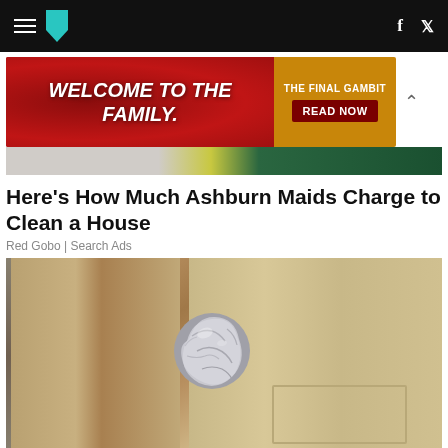HuffPost navigation with hamburger menu, logo, Facebook and Twitter icons
[Figure (photo): Advertisement banner: 'WELCOME TO THE FAMILY.' text on red background with 'THE FINAL GAMBIT READ NOW' on orange background]
[Figure (photo): Partial image strip below advertisement banner showing grey, yellow and dark green colors]
Here's How Much Ashburn Maids Charge to Clean a House
Red Gobo | Search Ads
[Figure (photo): Close-up photo of a door knob wrapped in aluminum foil on a beige/tan door]
Wrap Foil Around Doorknobs When Alone